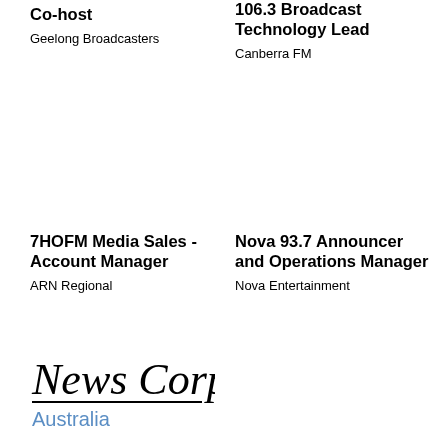Co-host
Geelong Broadcasters
106.3 Broadcast Technology Lead
Canberra FM
7HOFM Media Sales - Account Manager
ARN Regional
Nova 93.7 Announcer and Operations Manager
Nova Entertainment
[Figure (logo): News Corp Australia logo — handwritten script 'News Corp' with underline, and 'Australia' in blue sans-serif beneath]